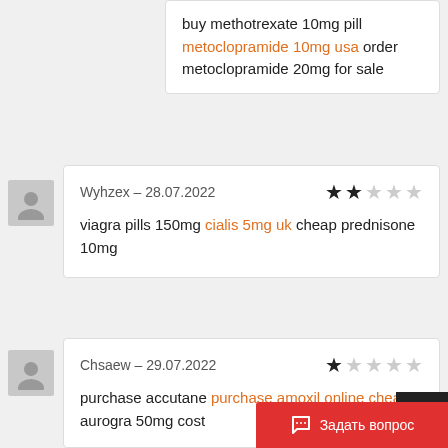buy methotrexate 10mg pill metoclopramide 10mg usa order metoclopramide 20mg for sale
Wyhzex – 28.07.2022
viagra pills 150mg cialis 5mg uk cheap prednisone 10mg
Chsaew – 29.07.2022
purchase accutane purchase amoxil online cheap aurogra 50mg cost